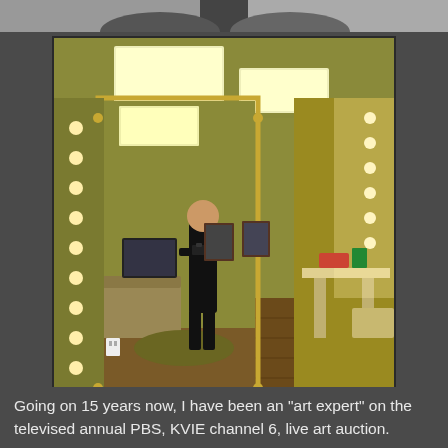[Figure (photo): Partial top image showing what appears to be people, cropped at the top of the page]
[Figure (photo): A person taking a mirror selfie in what appears to be a TV studio green room or dressing room. The room has bright vanity lights on the right side, a couch, a rug, and warm yellow-green walls with wood floors. The ceiling has recessed panel lighting.]
Going on 15 years now, I have been an "art expert" on the televised annual PBS, KVIE channel 6, live art auction.